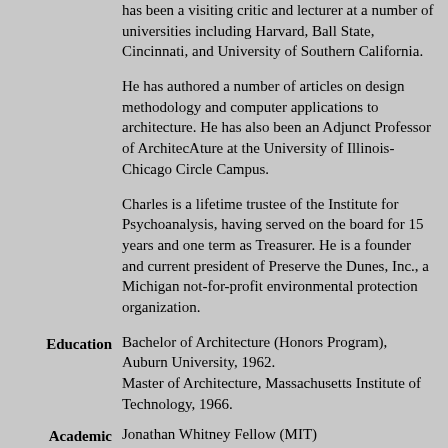has been a visiting critic and lecturer at a number of universities including Harvard, Ball State, Cincinnati, and University of Southern California.
He has authored a number of articles on design methodology and computer applications to architecture. He has also been an Adjunct Professor of ArchitecAture at the University of Illinois-Chicago Circle Campus.
Charles is a lifetime trustee of the Institute for Psychoanalysis, having served on the board for 15 years and one term as Treasurer. He is a founder and current president of Preserve the Dunes, Inc., a Michigan not-for-profit environmental protection organization.
Education: Bachelor of Architecture (Honors Program), Auburn University, 1962. Master of Architecture, Massachusetts Institute of Technology, 1966.
Academic Honors: Jonathan Whitney Fellow (MIT) Phi Kappa Phi Scholastic Honorary Omicron Delta Kappa Honorary Honor Admissions...